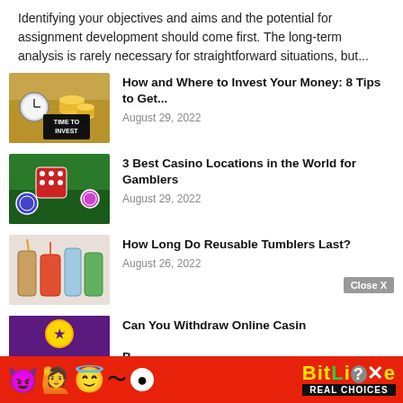Identifying your objectives and aims and the potential for assignment development should come first. The long-term analysis is rarely necessary for straightforward situations, but...
[Figure (photo): Coins, clock and 'TIME TO INVEST' sign on a desk]
How and Where to Invest Your Money: 8 Tips to Get...
August 29, 2022
[Figure (photo): Red dice and casino chips on a green gaming table]
3 Best Casino Locations in the World for Gamblers
August 29, 2022
[Figure (photo): Colorful reusable tumblers and cups]
How Long Do Reusable Tumblers Last?
August 26, 2022
[Figure (photo): Partial: Casino-themed image with colorful graphics, partly covered by BitLife advertisement banner]
Can You Withdraw Online Casino Bonuses?
[Figure (screenshot): BitLife advertisement banner: red background with emojis and BitLife REAL CHOICES logo]